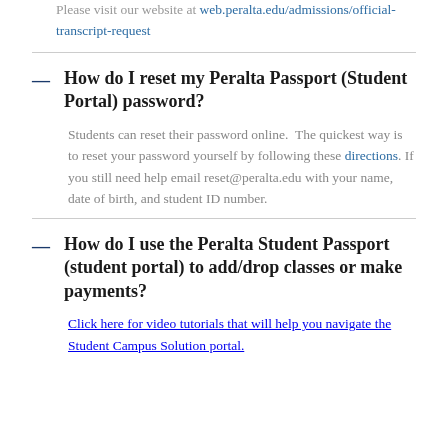Please visit our website at web.peralta.edu/admissions/official-transcript-request
How do I reset my Peralta Passport (Student Portal) password?
Students can reset their password online.  The quickest way is to reset your password yourself by following these directions. If you still need help email reset@peralta.edu with your name, date of birth, and student ID number.
How do I use the Peralta Student Passport (student portal) to add/drop classes or make payments?
Click here for video tutorials that will help you navigate the Student Campus Solution portal.